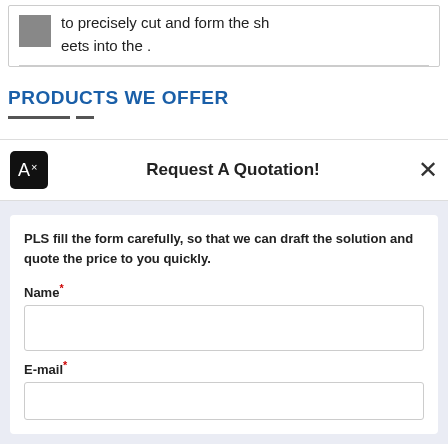[Figure (photo): Small grey/brown square thumbnail image in top card]
to precisely cut and form the sheets into the .
PRODUCTS WE OFFER
Request A Quotation!
PLS fill the form carefully, so that we can draft the solution and quote the price to you quickly.
Name*
E-mail*